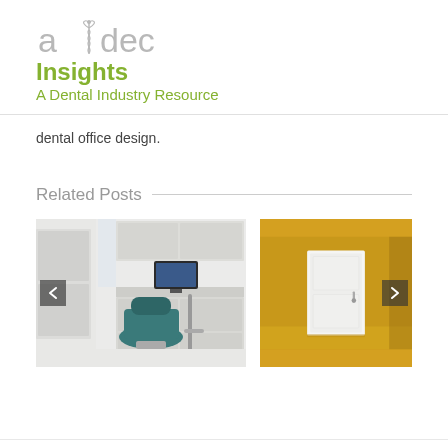a-dec Insights A Dental Industry Resource
dental office design.
Related Posts
[Figure (photo): Dental operatory with teal dental chair, equipment arm, monitor, and white cabinetry. Navigation arrows on sides.]
[Figure (photo): Room with bright yellow/mustard wall and white door. Navigation arrow on right side.]